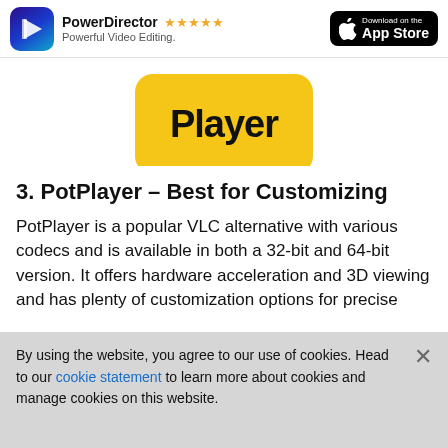[Figure (logo): PowerDirector app advertisement banner with app icon, star rating, subtitle 'Powerful Video Editing.', and Download on the App Store button]
[Figure (screenshot): Yellow rounded rectangle badge with bold black text 'Player']
3. PotPlayer – Best for Customizing
PotPlayer is a popular VLC alternative with various codecs and is available in both a 32-bit and 64-bit version. It offers hardware acceleration and 3D viewing and has plenty of customization options for precise
By using the website, you agree to our use of cookies. Head to our cookie statement to learn more about cookies and manage cookies on this website.